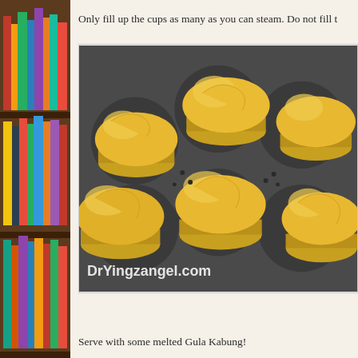[Figure (photo): Bookshelf with colorful books on the left side of the page]
Only fill up the cups as many as you can steam. Do not fill t
[Figure (photo): Photo of steamed cupcakes/muffins in aluminum foil cups arranged in a steamer, with watermark text 'DrYingzangel.com']
Serve with some melted Gula Kabung!